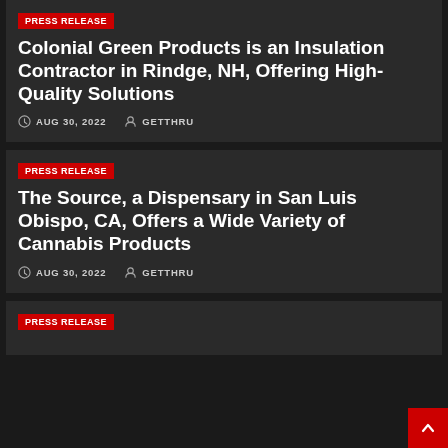PRESS RELEASE
Colonial Green Products is an Insulation Contractor in Rindge, NH, Offering High-Quality Solutions
AUG 30, 2022   GETTHRU
PRESS RELEASE
The Source, a Dispensary in San Luis Obispo, CA, Offers a Wide Variety of Cannabis Products
AUG 30, 2022   GETTHRU
PRESS RELEASE